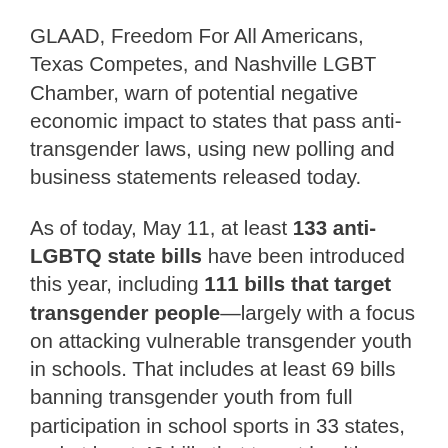GLAAD, Freedom For All Americans, Texas Competes, and Nashville LGBT Chamber, warn of potential negative economic impact to states that pass anti-transgender laws, using new polling and business statements released today.
As of today, May 11, at least 133 anti-LGBTQ state bills have been introduced this year, including 111 bills that target transgender people—largely with a focus on attacking vulnerable transgender youth in schools. That includes at least 69 bills banning transgender youth from full participation in school sports in 33 states, and at least 42 bills that target healthcare for transgender minors in 22 states. Seven states (Alabama, Arkansas, Idaho,